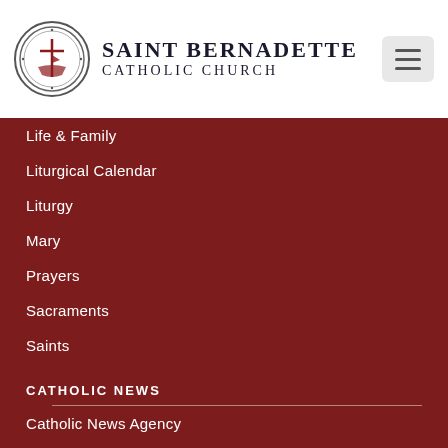[Figure (logo): Saint Bernadette Catholic Church circular seal/logo with cross and ship]
SAINT BERNADETTE CATHOLIC CHURCH
Life & Family
Liturgical Calendar
Liturgy
Mary
Prayers
Sacraments
Saints
CATHOLIC NEWS
Catholic News Agency
Catholic News Service
Zenit: World Seen From Rome
Pope2you
USCCB
LifeSite News
National Catholic Register